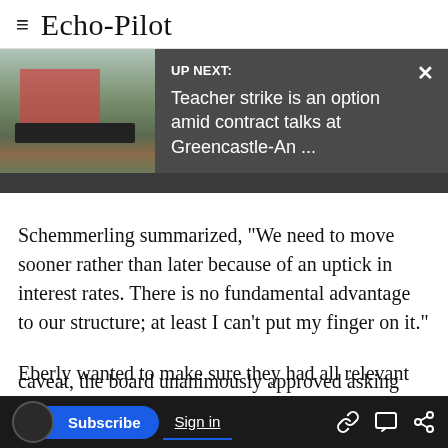≡ Echo-Pilot
[Figure (screenshot): UP NEXT banner with a photo of Greencastle-Antrim School Center sign and building on the left, dark gray background on the right with text: UP NEXT: Teacher strike is an option amid contract talks at Greencastle-An ... and a close (×) button]
Schemmerling summarized, "We need to move sooner rather than later because of an uptick in interest rates. There is no fundamental advantage to our structure; at least I can't put my finger on it."
Eberly wanted to make sure they had all relevant
caveat, the board unanimously approved asking